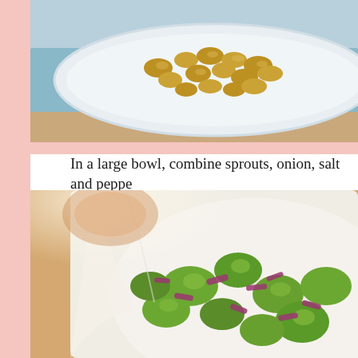[Figure (photo): Food photo showing glazed walnuts or similar candied nuts on a white rectangular plate, viewed from above at an angle, with a teal/blue surface underneath.]
In a large bowl, combine sprouts, onion, salt and peppe
[Figure (photo): Food photo showing a Brussels sprout salad with red onion slices on a white plate, with wooden bowl visible in background, close-up view with shallow depth of field.]